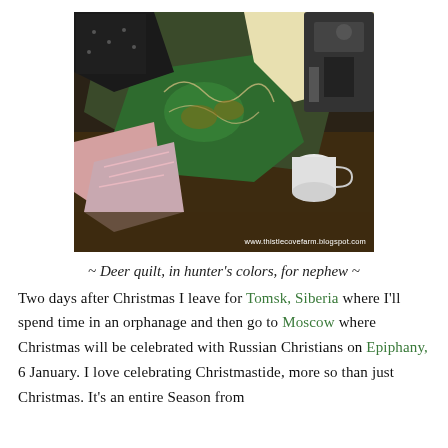[Figure (photo): Photo of a green deer-patterned quilt fabric on a sewing table with various fabric pieces and a sewing machine visible in the background. Watermark reads: www.thistlecovefarm.blogspot.com]
~ Deer quilt, in hunter's colors, for nephew ~
Two days after Christmas I leave for Tomsk, Siberia where I'll spend time in an orphanage and then go to Moscow where Christmas will be celebrated with Russian Christians on Epiphany, 6 January. I love celebrating Christmastide, more so than just Christmas. It's an entire Season from